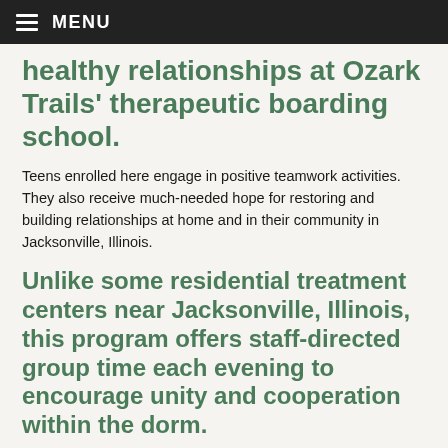MENU
healthy relationships at Ozark Trails' therapeutic boarding school.
Teens enrolled here engage in positive teamwork activities. They also receive much-needed hope for restoring and building relationships at home and in their community in Jacksonville, Illinois.
Unlike some residential treatment centers near Jacksonville, Illinois, this program offers staff-directed group time each evening to encourage unity and cooperation within the dorm.
[Figure (photo): Two people outdoors near a barn-like structure, one person leaning over toward another who is seated lower, suggesting mentorship or interaction between an adult and a teen.]